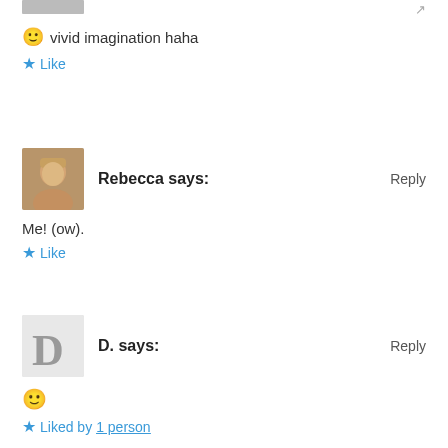vivid imagination haha
Like
Rebecca says:
Reply
Me! (ow).
Like
D. says:
Reply
😊
Liked by 1 person